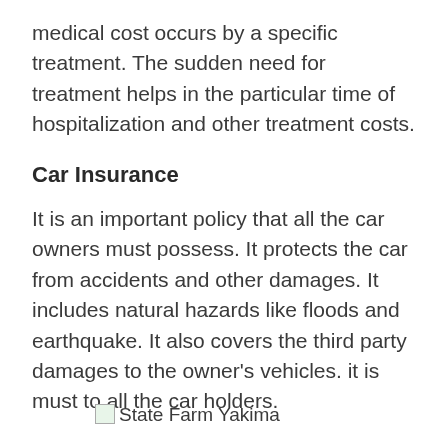medical cost occurs by a specific treatment. The sudden need for treatment helps in the particular time of hospitalization and other treatment costs.
Car Insurance
It is an important policy that all the car owners must possess. It protects the car from accidents and other damages. It includes natural hazards like floods and earthquake. It also covers the third party damages to the owner's vehicles. it is must to all the car holders.
[Figure (logo): State Farm Yakima logo placeholder image followed by text 'State Farm Yakima']